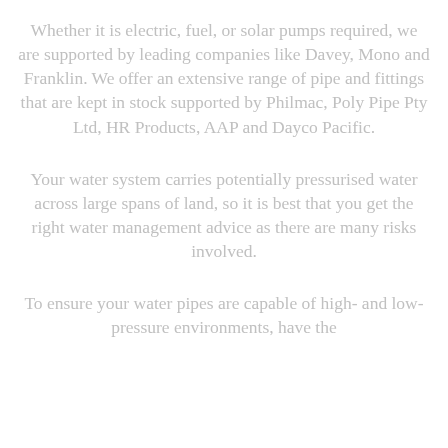Whether it is electric, fuel, or solar pumps required, we are supported by leading companies like Davey, Mono and Franklin. We offer an extensive range of pipe and fittings that are kept in stock supported by Philmac, Poly Pipe Pty Ltd, HR Products, AAP and Dayco Pacific.
Your water system carries potentially pressurised water across large spans of land, so it is best that you get the right water management advice as there are many risks involved.
To ensure your water pipes are capable of high- and low-pressure environments, have the